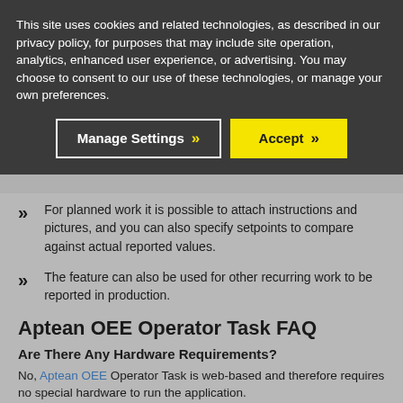This site uses cookies and related technologies, as described in our privacy policy, for purposes that may include site operation, analytics, enhanced user experience, or advertising. You may choose to consent to our use of these technologies, or manage your own preferences.
Manage Settings >> | Accept >>
For planned work it is possible to attach instructions and pictures, and you can also specify setpoints to compare against actual reported values.
The feature can also be used for other recurring work to be reported in production.
Aptean OEE Operator Task FAQ
Are There Any Hardware Requirements?
No, Aptean OEE Operator Task is web-based and therefore requires no special hardware to run the application.